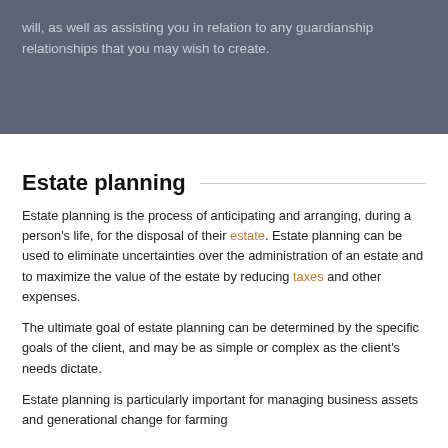will, as well as assisting you in relation to any guardianship relationships that you may wish to create.
Estate planning
Estate planning is the process of anticipating and arranging, during a person's life, for the disposal of their estate. Estate planning can be used to eliminate uncertainties over the administration of an estate and to maximize the value of the estate by reducing taxes and other expenses.
The ultimate goal of estate planning can be determined by the specific goals of the client, and may be as simple or complex as the client's needs dictate.
Estate planning is particularly important for managing business assets and generational change for farming